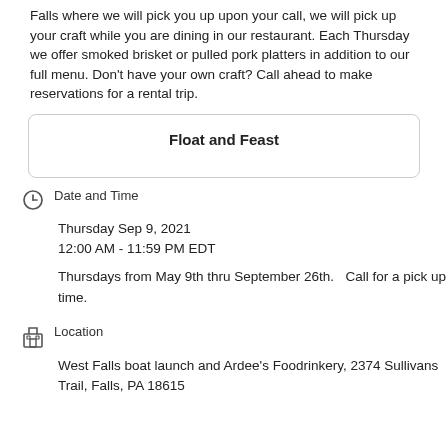Falls where we will pick you up upon your call, we will pick up your craft while you are dining in our restaurant. Each Thursday we offer smoked brisket or pulled pork platters in addition to our full menu. Don't have your own craft? Call ahead to make reservations for a rental trip.
Float and Feast
Date and Time
Thursday Sep 9, 2021
12:00 AM - 11:59 PM EDT
Thursdays from May 9th thru September 26th.   Call for a pick up time.
Location
West Falls boat launch and Ardee's Foodrinkery, 2374 Sullivans Trail, Falls, PA 18615